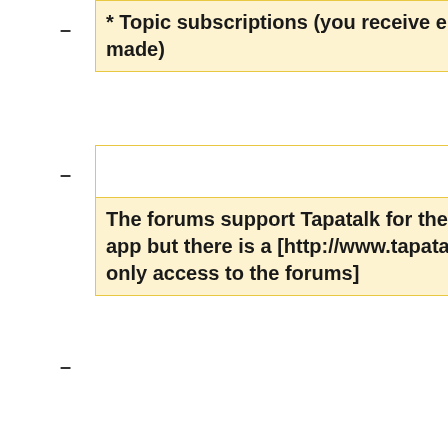* Topic subscriptions (you receive email when a new post is made)
The forums support Tapatalk for the iPhone. Tapatalk is a paid app but there is a [http://www.tapatalk.com/ free version for read only access to the forums]
The forums provide an RSS feed.
The forums have a search facility, but do not index certain common words. If that is a problem you can [[Search forum for common words|follow these instructions to search the